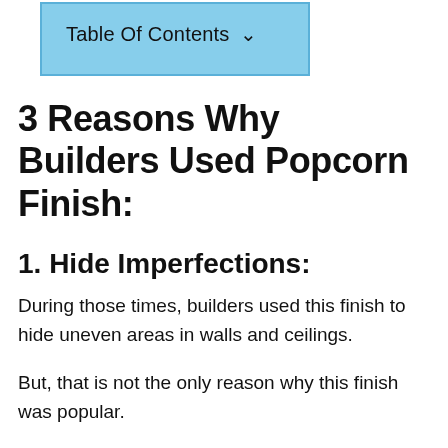[Figure (other): Table of Contents dropdown button with light blue background and a downward chevron arrow]
3 Reasons Why Builders Used Popcorn Finish:
1. Hide Imperfections:
During those times, builders used this finish to hide uneven areas in walls and ceilings.
But, that is not the only reason why this finish was popular.